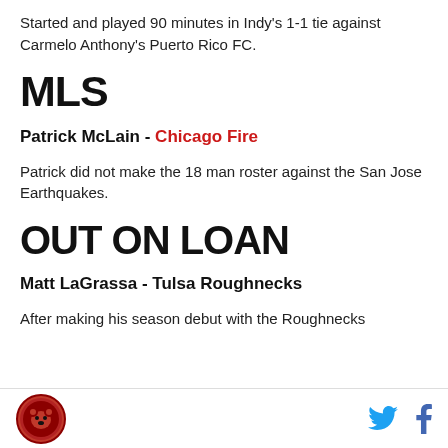Started and played 90 minutes in Indy's 1-1 tie against Carmelo Anthony's Puerto Rico FC.
MLS
Patrick McLain - Chicago Fire
Patrick did not make the 18 man roster against the San Jose Earthquakes.
OUT ON LOAN
Matt LaGrassa - Tulsa Roughnecks
After making his season debut with the Roughnecks
Logo and social media icons